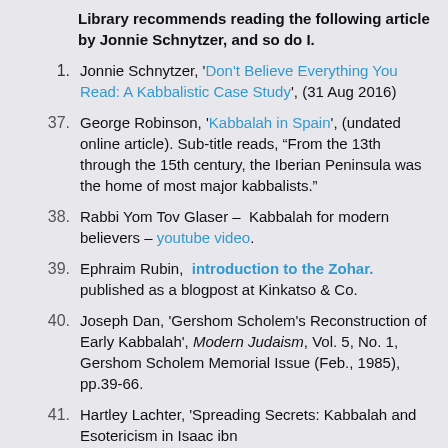Library recommends reading the following article by Jonnie Schnytzer, and so do I.
Jonnie Schnytzer, 'Don't Believe Everything You Read: A Kabbalistic Case Study', (31 Aug 2016)
37. George Robinson, 'Kabbalah in Spain', (undated online article). Sub-title reads, “From the 13th through the 15th century, the Iberian Peninsula was the home of most major kabbalists.”
38. Rabbi Yom Tov Glaser – Kabbalah for modern believers – youtube video.
39. Ephraim Rubin, introduction to the Zohar. published as a blogpost at Kinkatso & Co.
40. Joseph Dan, 'Gershom Scholem's Reconstruction of Early Kabbalah', Modern Judaism, Vol. 5, No. 1, Gershom Scholem Memorial Issue (Feb., 1985), pp.39-66.
41. Hartley Lachter, 'Spreading Secrets: Kabbalah and Esotericism in Isaac ibn